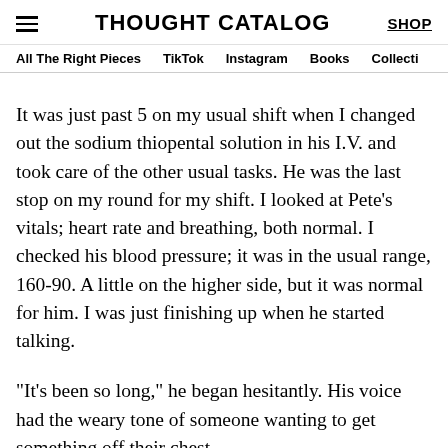THOUGHT CATALOG
All The Right Pieces  TikTok  Instagram  Books  Collecti
It was just past 5 on my usual shift when I changed out the sodium thiopental solution in his I.V. and took care of the other usual tasks. He was the last stop on my round for my shift. I looked at Pete’s vitals; heart rate and breathing, both normal. I checked his blood pressure; it was in the usual range, 160-90. A little on the higher side, but it was normal for him. I was just finishing up when he started talking.
“It’s been so long,” he began hesitantly. His voice had the weary tone of someone wanting to get something off their chest.
“Yeah it has Pete.” It was quite common for people under medical care to talk at length to the staff. Believe me.